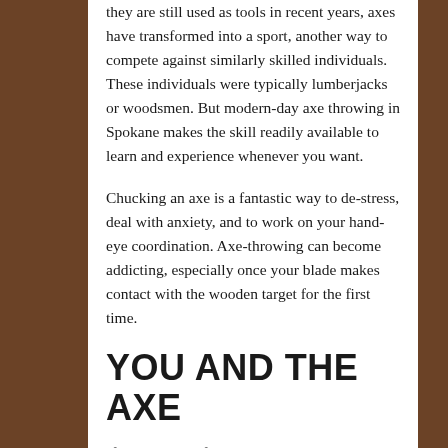they are still used as tools in recent years, axes have transformed into a sport, another way to compete against similarly skilled individuals. These individuals were typically lumberjacks or woodsmen. But modern-day axe throwing in Spokane makes the skill readily available to learn and experience whenever you want.
Chucking an axe is a fantastic way to de-stress, deal with anxiety, and to work on your hand-eye coordination. Axe-throwing can become addicting, especially once your blade makes contact with the wooden target for the first time.
YOU AND THE AXE
If you're tired of spending your time at the same old local entertainment places that have been around for decades, you should give axe throwing a try. It's an exciting and fun new skill you can learn, and have a good time while doing so. Compete against your friends and family for a rousing outing.
Don't worry if you've never thrown an axe before. Our team of skilled and well-trained axe throwing staff will be nearby